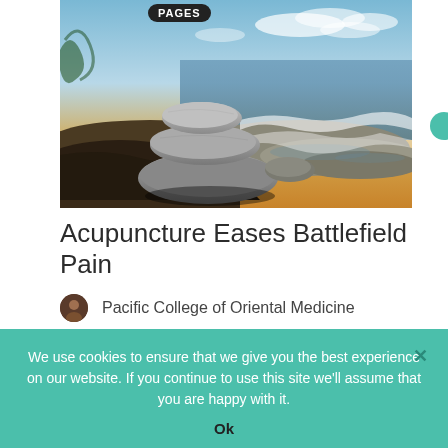[Figure (photo): Stack of smooth rounded stones balanced on a rocky beach shoreline with ocean water and a blue sky with clouds in the background. A dark navigation bar with text 'PAGES' appears at the top.]
Acupuncture Eases Battlefield Pain
Pacific College of Oriental Medicine
Chronic pain is one of the most common
We use cookies to ensure that we give you the best experience on our website. If you continue to use this site we'll assume that you are happy with it.
Ok